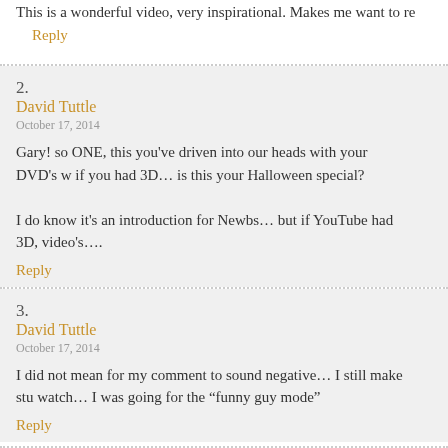This is a wonderful video, very inspirational. Makes me want to re
Reply
2. David Tuttle
October 17, 2014
Gary! so ONE, this you've driven into our heads with your DVD's w if you had 3D… is this your Halloween special?

I do know it's an introduction for Newbs… but if YouTube had 3D, video's….

Reply
3. David Tuttle
October 17, 2014
I did not mean for my comment to sound negative… I still make stu watch… I was going for the "funny guy mode"

Reply